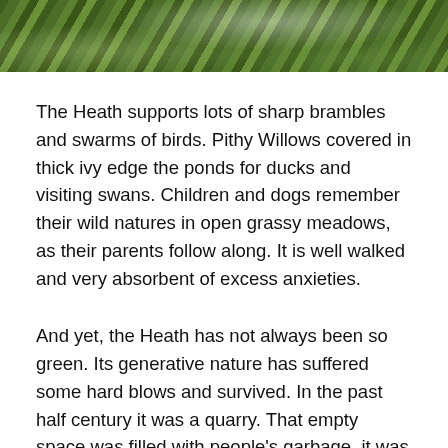[Figure (photo): Close-up photograph of green bramble/raspberry leaves with some white fluffy material, shot from above showing vegetation on ground]
The Heath supports lots of sharp brambles and swarms of birds. Pithy Willows covered in thick ivy edge the ponds for ducks and visiting swans. Children and dogs remember their wild natures in open grassy meadows, as their parents follow along. It is well walked and very absorbent of excess anxieties.
And yet, the Heath has not always been so green. Its generative nature has suffered some hard blows and survived. In the past half century it was a quarry. That empty space was filled with people's garbage, it was used as a landfill. Due to its continuing methane production, this land cannot be used for development. Its high level of pollution is what maintains the Heath as a green space. Walking this battle scared land gives a new perspective; it